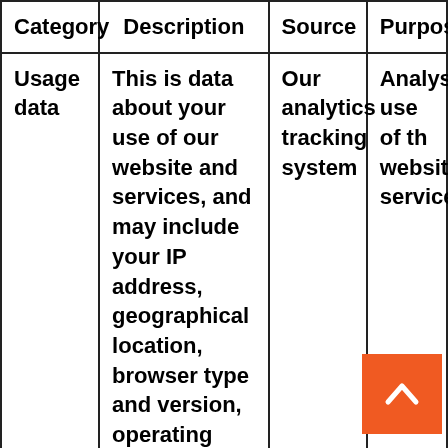| Category | Description | Source | Purpose |
| --- | --- | --- | --- |
| Usage data | This is data about your use of our website and services, and may include your IP address, geographical location, browser type and version, operating system, referral source, | Our analytics tracking system | Analysin use of th website services |